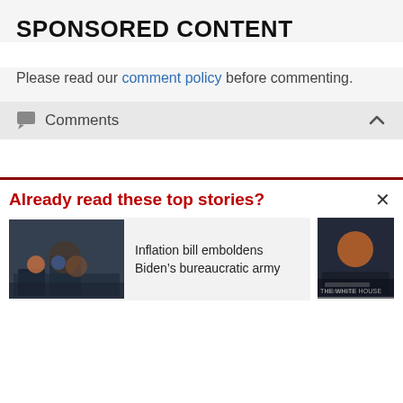SPONSORED CONTENT
Please read our comment policy before commenting.
Comments
Already read these top stories?
Inflation bill emboldens Biden’s bureaucratic army